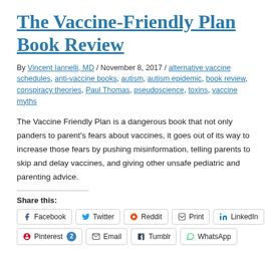The Vaccine-Friendly Plan Book Review
By Vincent Iannelli, MD / November 8, 2017 / alternative vaccine schedules, anti-vaccine books, autism, autism epidemic, book review, conspiracy theories, Paul Thomas, pseudoscience, toxins, vaccine myths
The Vaccine Friendly Plan is a dangerous book that not only panders to parent's fears about vaccines, it goes out of its way to increase those fears by pushing misinformation, telling parents to skip and delay vaccines, and giving other unsafe pediatric and parenting advice.
Share this:
Facebook Twitter Reddit Print LinkedIn Pinterest 2 Email Tumblr WhatsApp